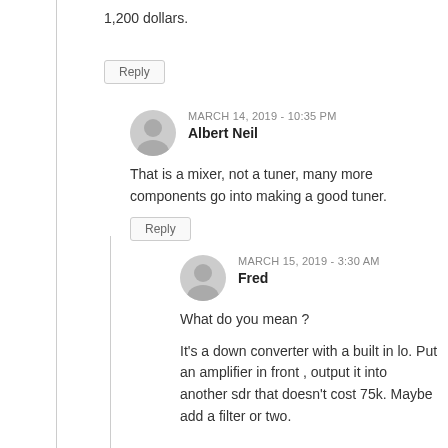1,200 dollars.
Reply
MARCH 14, 2019 - 10:35 PM
Albert Neil
That is a mixer, not a tuner, many more components go into making a good tuner.
Reply
MARCH 15, 2019 - 3:30 AM
Fred
What do you mean ?
It's a down converter with a built in lo. Put an amplifier in front , output it into another sdr that doesn't cost 75k. Maybe add a filter or two.